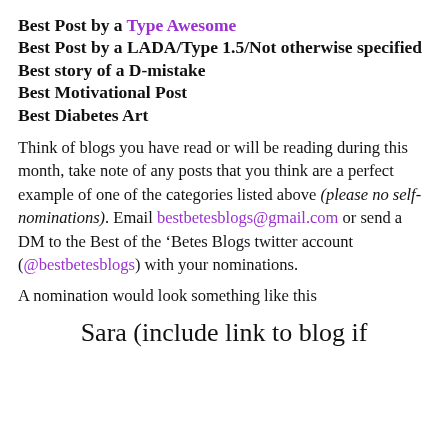Best Post by a Type Awesome
Best Post by a LADA/Type 1.5/Not otherwise specified
Best story of a D-mistake
Best Motivational Post
Best Diabetes Art
Think of blogs you have read or will be reading during this month, take note of any posts that you think are a perfect example of one of the categories listed above (please no self-nominations). Email bestbetesblogs@gmail.com or send a DM to the Best of the ‘Betes Blogs twitter account (@bestbetesblogs) with your nominations.
A nomination would look something like this
Sara (include link to blog if